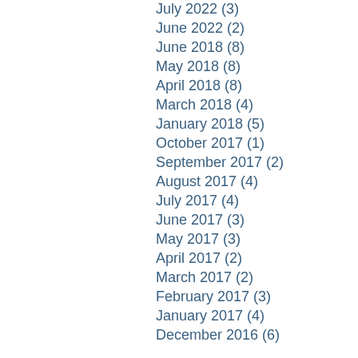July 2022 (3)
June 2022 (2)
June 2018 (8)
May 2018 (8)
April 2018 (8)
March 2018 (4)
January 2018 (5)
October 2017 (1)
September 2017 (2)
August 2017 (4)
July 2017 (4)
June 2017 (3)
May 2017 (3)
April 2017 (2)
March 2017 (2)
February 2017 (3)
January 2017 (4)
December 2016 (6)
Search By Tags